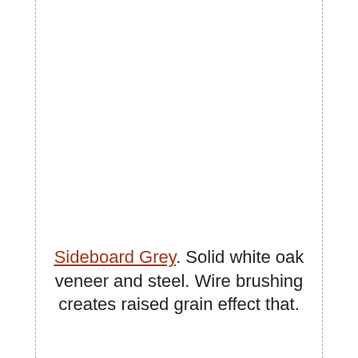Sideboard Grey. Solid white oak veneer and steel. Wire brushing creates raised grain effect that.